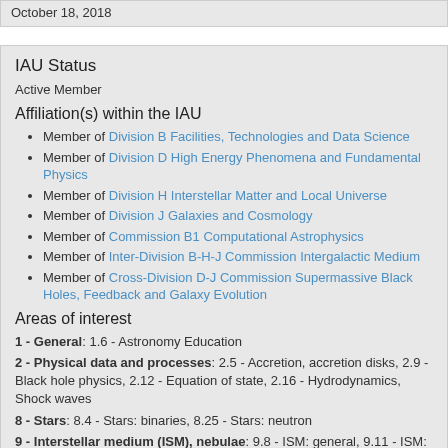October 18, 2018
IAU Status
Active Member
Affiliation(s) within the IAU
Member of Division B Facilities, Technologies and Data Science
Member of Division D High Energy Phenomena and Fundamental Physics
Member of Division H Interstellar Matter and Local Universe
Member of Division J Galaxies and Cosmology
Member of Commission B1 Computational Astrophysics
Member of Inter-Division B-H-J Commission Intergalactic Medium
Member of Cross-Division D-J Commission Supermassive Black Holes, Feedback and Galaxy Evolution
Areas of interest
1 - General: 1.6 - Astronomy Education
2 - Physical data and processes: 2.5 - Accretion, accretion disks, 2.9 - Black hole physics, 2.12 - Equation of state, 2.16 - Hydrodynamics, Shock waves
8 - Stars: 8.4 - Stars: binaries, 8.25 - Stars: neutron
9 - Interstellar medium (ISM), nebulae: 9.8 - ISM: general, 9.11 - ISM: jets